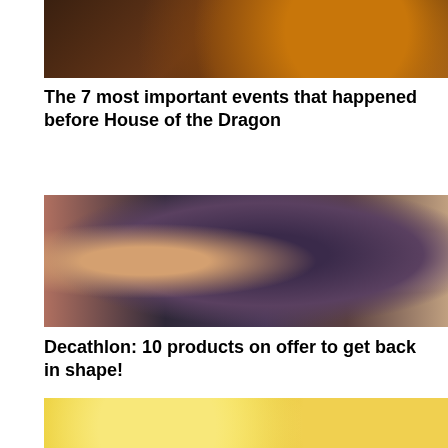[Figure (photo): Dark image showing a dragon or reptile creature from the House of the Dragon TV show, with warm orange/brown tones]
The 7 most important events that happened before House of the Dragon
[Figure (photo): Fitness/exercise photo showing people working out, including a woman in a sports bra top, likely at a gym or exercise class]
Decathlon: 10 products on offer to get back in shape!
[Figure (screenshot): Bottom portion of page showing a Next Article button overlay, Close X button, yellow emoji background, and a purple Find a Girlfriend advertisement banner by Clover]